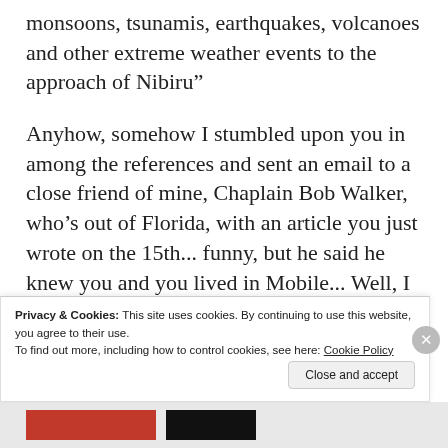monsoons, tsunamis, earthquakes, volcanoes and other extreme weather events to the approach of Nibiru"
Anyhow, somehow I stumbled upon you in among the references and sent an email to a close friend of mine, Chaplain Bob Walker, who’s out of Florida, with an article you just wrote on the 15th... funny, but he said he knew you and you lived in Mobile... Well, I live on the west side of Mobile myself and used to live in Foley last year and have passed through
Privacy & Cookies: This site uses cookies. By continuing to use this website, you agree to their use.
To find out more, including how to control cookies, see here: Cookie Policy
Close and accept